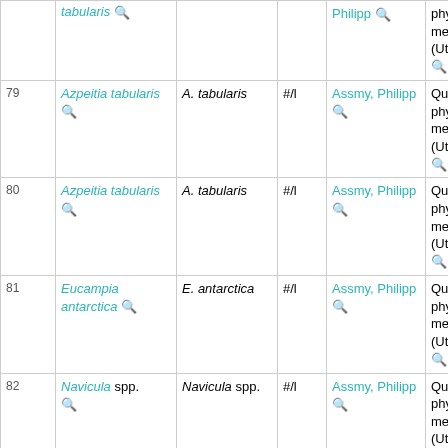| # | Name | Short name | Unit | PI | Method |
| --- | --- | --- | --- | --- | --- |
|  | tabularis 🔍 |  |  | Philipp 🔍 | phytoplankton method (Utermöhl, 1... 🔍 |
| 79 | Azpeitia tabularis 🔍 | A. tabularis | #/l | Assmy, Philipp 🔍 | Quantitative phytoplankton method (Utermöhl, 1... 🔍 |
| 80 | Azpeitia tabularis 🔍 | A. tabularis | #/l | Assmy, Philipp 🔍 | Quantitative phytoplankton method (Utermöhl, 1... 🔍 |
| 81 | Eucampia antarctica 🔍 | E. antarctica | #/l | Assmy, Philipp 🔍 | Quantitative phytoplankton method (Utermöhl, 1... 🔍 |
| 82 | Navicula spp. 🔍 | Navicula spp. | #/l | Assmy, Philipp 🔍 | Quantitative phytoplankton method (Utermöhl, 1... 🔍 |
| 83 | Navicula spp. 🔍 | Navicula spp. | #/l | Assmy, 🔍 | Quantitative |